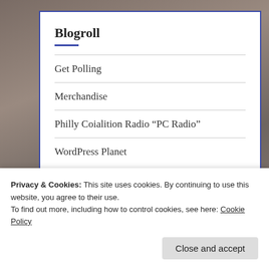Blogroll
Get Polling
Merchandise
Philly Coialition Radio “PC Radio”
WordPress Planet
Community
Privacy & Cookies: This site uses cookies. By continuing to use this website, you agree to their use.
To find out more, including how to control cookies, see here: Cookie Policy